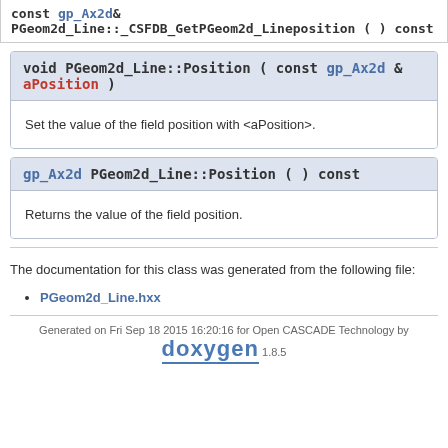const gp_Ax2d&
PGeom2d_Line::_CSFDB_GetPGeom2d_Lineposition ( ) const
void PGeom2d_Line::Position ( const gp_Ax2d & aPosition )
Set the value of the field position with <aPosition>.
gp_Ax2d PGeom2d_Line::Position ( ) const
Returns the value of the field position.
The documentation for this class was generated from the following file:
PGeom2d_Line.hxx
Generated on Fri Sep 18 2015 16:20:16 for Open CASCADE Technology by doxygen 1.8.5